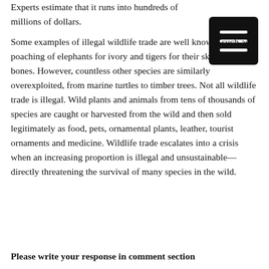Experts estimate that it runs into hundreds of millions of dollars.
Some examples of illegal wildlife trade are well known, such as poaching of elephants for ivory and tigers for their skins and bones. However, countless other species are similarly overexploited, from marine turtles to timber trees. Not all wildlife trade is illegal. Wild plants and animals from tens of thousands of species are caught or harvested from the wild and then sold legitimately as food, pets, ornamental plants, leather, tourist ornaments and medicine. Wildlife trade escalates into a crisis when an increasing proportion is illegal and unsustainable—directly threatening the survival of many species in the wild.
Please write your response in comment section